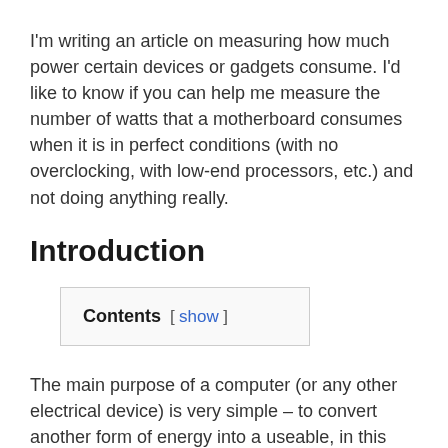I'm writing an article on measuring how much power certain devices or gadgets consume. I'd like to know if you can help me measure the number of watts that a motherboard consumes when it is in perfect conditions (with no overclocking, with low-end processors, etc.) and not doing anything really.
Introduction
Contents [ show ]
The main purpose of a computer (or any other electrical device) is very simple – to convert another form of energy into a useable, in this